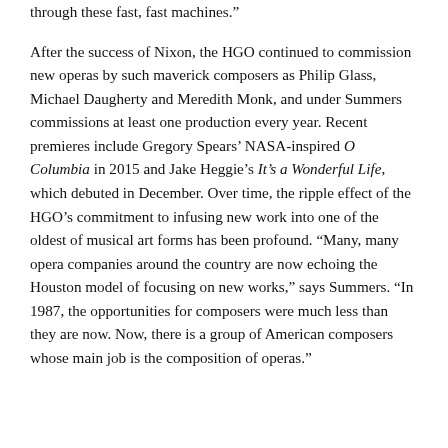through these fast, fast machines."

After the success of Nixon, the HGO continued to commission new operas by such maverick composers as Philip Glass, Michael Daugherty and Meredith Monk, and under Summers commissions at least one production every year. Recent premieres include Gregory Spears' NASA-inspired O Columbia in 2015 and Jake Heggie's It's a Wonderful Life, which debuted in December. Over time, the ripple effect of the HGO’s commitment to infusing new work into one of the oldest of musical art forms has been profound. “Many, many opera companies around the country are now echoing the Houston model of focusing on new works,” says Summers. “In 1987, the opportunities for composers were much less than they are now. Now, there is a group of American composers whose main job is the composition of operas.”